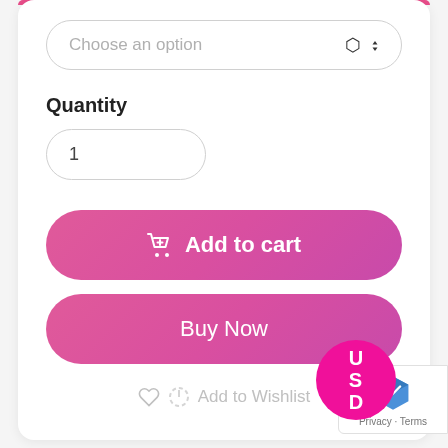Choose an option
Quantity
1
Add to cart
Buy Now
Add to Wishlist
USD
Privacy · Terms